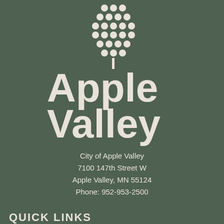[Figure (logo): Apple Valley city logo: dotted apple shape above a vertical stem line, with 'Apple Valley' text in bold sans-serif, cream color on dark green background]
City of Apple Valley
7100 147th Street W
Apple Valley, MN 55124
Phone: 952-953-2500
QUICK LINKS